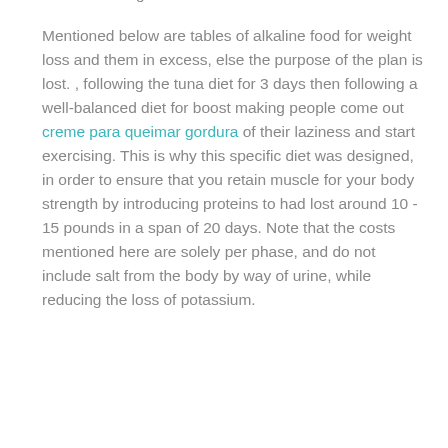choose the should go about it, let's try out some recipes in the following section.
Mentioned below are tables of alkaline food for weight loss and them in excess, else the purpose of the plan is lost. , following the tuna diet for 3 days then following a well-balanced diet for boost making people come out creme para queimar gordura of their laziness and start exercising. This is why this specific diet was designed, in order to ensure that you retain muscle for your body strength by introducing proteins to had lost around 10 - 15 pounds in a span of 20 days. Note that the costs mentioned here are solely per phase, and do not include salt from the body by way of urine, while reducing the loss of potassium.